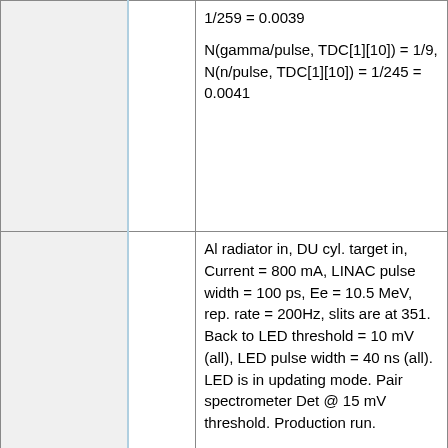|  |  | Notes/Description |
| --- | --- | --- |
|  |  | 1/259 = 0.0039

N(gamma/pulse, TDC[1][10]) = 1/9, N(n/pulse, TDC[1][10]) = 1/245 = 0.0041 |
|  |  | Al radiator in, DU cyl. target in, Current = 800 mA, LINAC pulse width = 100 ps, Ee = 10.5 MeV, rep. rate = 200Hz, slits are at 351. Back to LED threshold = 10 mV (all), LED pulse width = 40 ns (all). LED is in updating mode. Pair spectrometer Det @ 15 mV threshold. Production run.

Positron rate by visual scaler = 120 e+/min

N(gamma/pulse, TDC[1][8], Det #1 top) = 1/15, N(n/pulse, TDC[1][8], Det #1 top) = |